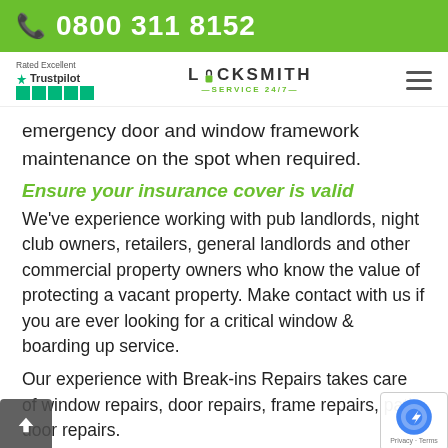0800 311 8152
[Figure (logo): Locksmith Service 24/7 logo with Trustpilot rating and hamburger menu]
emergency door and window framework maintenance on the spot when required.
Ensure your insurance cover is valid
We've experience working with pub landlords, night club owners, retailers, general landlords and other commercial property owners who know the value of protecting a vacant property. Make contact with us if you are ever looking for a critical window & boarding up service.
Our experience with Break-ins Repairs takes care of window repairs, door repairs, frame repairs, patio door repairs.